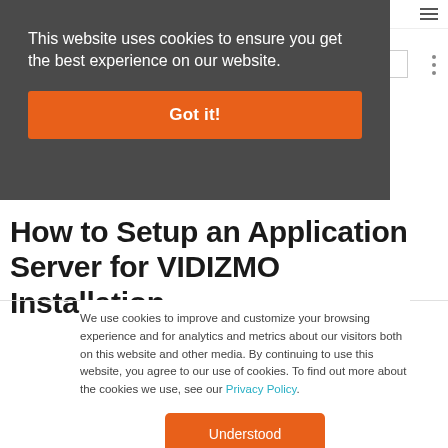VIDIZMO
This website uses cookies to ensure you get the best experience on our website.
Got it!
How to Setup an Application Server for VIDIZMO Installation
We use cookies to improve and customize your browsing experience and for analytics and metrics about our visitors both on this website and other media. By continuing to use this website, you agree to our use of cookies. To find out more about the cookies we use, see our Privacy Policy.
Understood